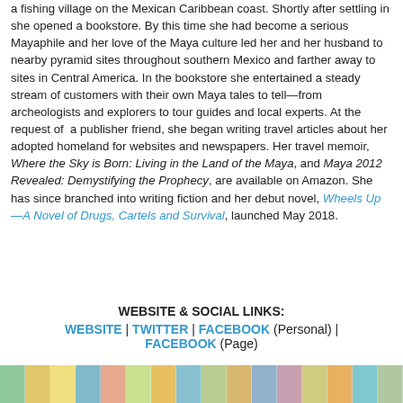a fishing village on the Mexican Caribbean coast. Shortly after settling in she opened a bookstore. By this time she had become a serious Mayaphile and her love of the Maya culture led her and her husband to nearby pyramid sites throughout southern Mexico and farther away to sites in Central America. In the bookstore she entertained a steady stream of customers with their own Maya tales to tell—from archeologists and explorers to tour guides and local experts. At the request of a publisher friend, she began writing travel articles about her adopted homeland for websites and newspapers. Her travel memoir, Where the Sky is Born: Living in the Land of the Maya, and Maya 2012 Revealed: Demystifying the Prophecy, are available on Amazon. She has since branched into writing fiction and her debut novel, Wheels Up—A Novel of Drugs, Cartels and Survival, launched May 2018.
WEBSITE & SOCIAL LINKS:
WEBSITE | TWITTER | FACEBOOK (Personal) | FACEBOOK (Page)
[Figure (photo): A horizontal strip of colorful book spines arranged side by side]